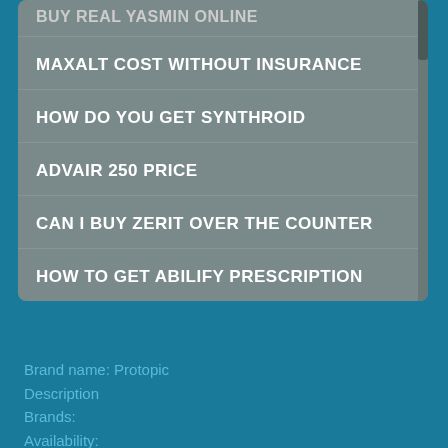BUY REAL YASMIN ONLINE
MAXALT COST WITHOUT INSURANCE
HOW DO YOU GET SYNTHROID
ADVAIR 250 PRICE
CAN I BUY ZERIT OVER THE COUNTER
HOW TO GET ABILIFY PRESCRIPTION
Brand name: Protopic
Description
Brands:
Availability:
Pregnancy:
Alcohol:
Side Effects:
Interactions:
For informational purposes only. Consult your local medical authority for advice.